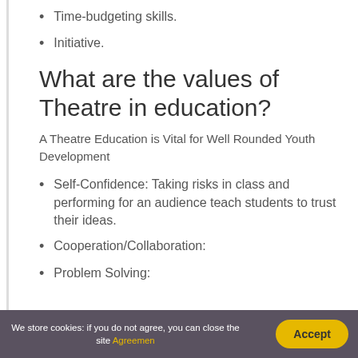Time-budgeting skills.
Initiative.
What are the values of Theatre in education?
A Theatre Education is Vital for Well Rounded Youth Development
Self-Confidence: Taking risks in class and performing for an audience teach students to trust their ideas.
Cooperation/Collaboration:
Problem Solving:
We store cookies: if you do not agree, you can close the site Agreemen  Accept